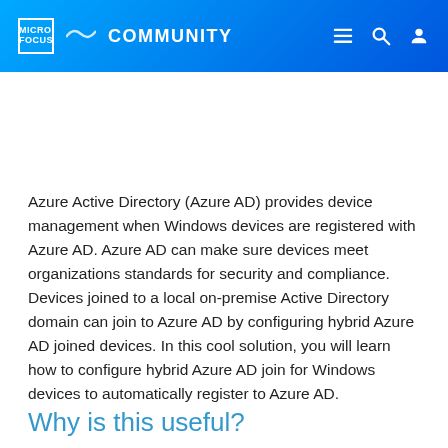MICRO FOCUS COMMUNITY
Azure Active Directory (Azure AD) provides device management when Windows devices are registered with Azure AD. Azure AD can make sure devices meet organizations standards for security and compliance. Devices joined to a local on-premise Active Directory domain can join to Azure AD by configuring hybrid Azure AD joined devices. In this cool solution, you will learn how to configure hybrid Azure AD join for Windows devices to automatically register to Azure AD.
Why is this useful?